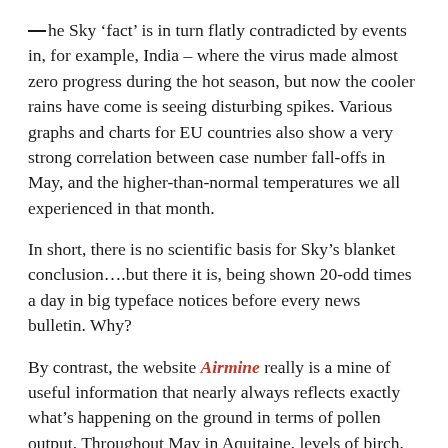the Sky 'fact' is in turn flatly contradicted by events in, for example, India – where the virus made almost zero progress during the hot season, but now the cooler rains have come is seeing disturbing spikes. Various graphs and charts for EU countries also show a very strong correlation between case number fall-offs in May, and the higher-than-normal temperatures we all experienced in that month.
In short, there is no scientific basis for Sky's blanket conclusion....but there it is, being shown 20-odd times a day in big typeface notices before every news bulletin. Why?
By contrast, the website Airmine really is a mine of useful information that nearly always reflects exactly what's happening on the ground in terms of pollen output. Throughout May in Aquitaine, levels of birch, fruit tree and grass pollen were abnormally high – so for the first time in my 72 years, I have actually needed throat relief and anti-nasal drip treatment from the pharmacy: without it,